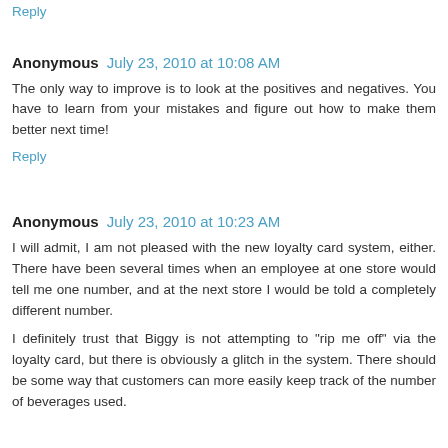Reply
Anonymous  July 23, 2010 at 10:08 AM
The only way to improve is to look at the positives and negatives. You have to learn from your mistakes and figure out how to make them better next time!
Reply
Anonymous  July 23, 2010 at 10:23 AM
I will admit, I am not pleased with the new loyalty card system, either. There have been several times when an employee at one store would tell me one number, and at the next store I would be told a completely different number.
I definitely trust that Biggy is not attempting to "rip me off" via the loyalty card, but there is obviously a glitch in the system. There should be some way that customers can more easily keep track of the number of beverages used.